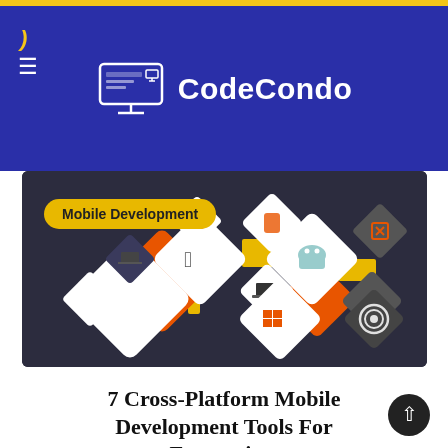[Figure (logo): CodeCondo logo with monitor icon and text 'CodeCondo' on blue background header with yellow top bar, moon icon, and hamburger menu]
[Figure (screenshot): Hero image showing cross-platform mobile development icons (Apple, Android, Windows, tablet, laptop) as diamond-shaped tiles on dark background, with 'Mobile Development' yellow badge overlay]
7 Cross-Platform Mobile Development Tools For Enterprises